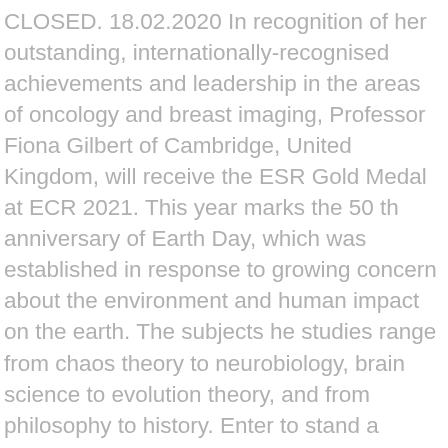CLOSED. 18.02.2020 In recognition of her outstanding, internationally-recognised achievements and leadership in the areas of oncology and breast imaging, Professor Fiona Gilbert of Cambridge, United Kingdom, will receive the ESR Gold Medal at ECR 2021. This year marks the 50 th anniversary of Earth Day, which was established in response to growing concern about the environment and human impact on the earth. The subjects he studies range from chaos theory to neurobiology, brain science to evolution theory, and from philosophy to history. Enter to stand a chance to win incredible prizes, including the coolest and trendy things, by entering our competitions. The Scientific Programme of ECR 2021 congress brings you a rich and diverse assortment of lectures. Three finalists were selected to present their publications online at HUPO Connect 2020, where an expert committee evaluated their oral presentations. Graduating from the University of Antwerp, Belgium, he trained in radiology at his alma mater, with subsequent fellowships in neuroradiology at